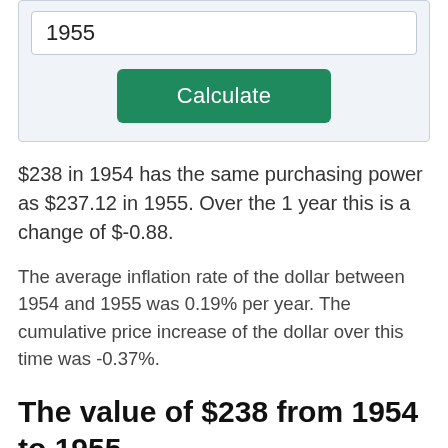1955
Calculate
$238 in 1954 has the same purchasing power as $237.12 in 1955. Over the 1 year this is a change of $-0.88.
The average inflation rate of the dollar between 1954 and 1955 was 0.19% per year. The cumulative price increase of the dollar over this time was -0.37%.
The value of $238 from 1954 to 1955